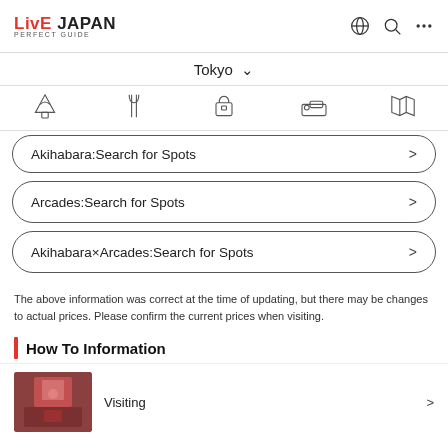LIVE JAPAN PERFECT GUIDE
Tokyo
Akihabara:Search for Spots
Arcades:Search for Spots
Akihabara×Arcades:Search for Spots
The above information was correct at the time of updating, but there may be changes to actual prices. Please confirm the current prices when visiting.
How To Information
Visiting